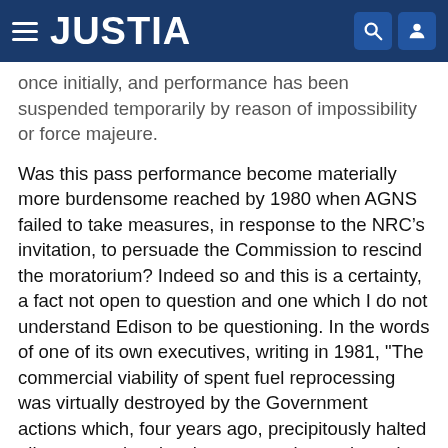JUSTIA
...once initially, and performance has been suspended temporarily by reason of impossibility or force majeure.
Was this pass performance become materially more burdensome reached by 1980 when AGNS failed to take measures, in response to the NRC’s invitation, to persuade the Commission to rescind the moratorium? Indeed so and this is a certainty, a fact not open to question and one which I do not understand Edison to be questioning. In the words of one of its own executives, writing in 1981, "The commercial viability of spent fuel reprocessing was virtually destroyed by the Government actions which, four years ago, precipitously halted all reprocessing development work, terminated the [environmental] hearings and caused the more than half-completed Barnwell facility to be virtually abandoned. This could happen again. Therefore, it will be difficult to persuade investors to put up much risk